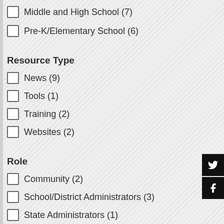Middle and High School (7)
Pre-K/Elementary School (6)
Resource Type
News (9)
Tools (1)
Training (2)
Websites (2)
Role
Community (2)
School/District Administrators (3)
State Administrators (1)
State
Louisiana (2)